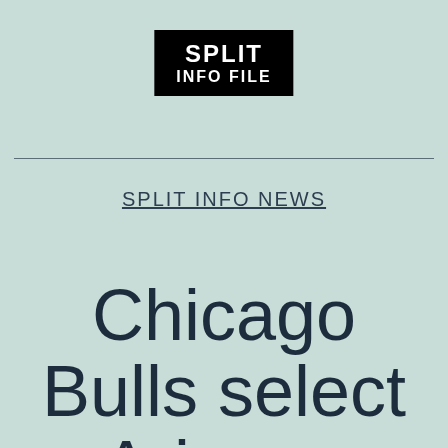[Figure (logo): Black rectangle logo with white bold text reading SPLIT INFO FILE on two lines]
SPLIT INFO NEWS
Chicago Bulls select Arizona